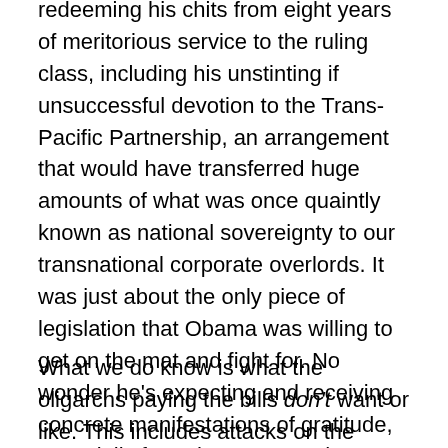redeeming his chits from eight years of meritorious service to the ruling class, including his unstinting if unsuccessful devotion to the Trans-Pacific Partnership, an arrangement that would have transferred huge amounts of what was once quaintly known as national sovereignty to our transnational corporate overlords. It was just about the only piece of legislation that Obama was willing to get on the mat and fight for. No wonder he's expecting and receiving concrete manifestations of gratitude, especially from the tycoons who went unindicted and fully bonused-up after the 2008 meltdown, winding up bigger and stronger and more arrogant than ever.
What we do know is what the oligarchs paying the bills don't want or like. This includes attacks on the economic and political forces of gentrification, which they view as progress, or advocacy for affordable housing, or